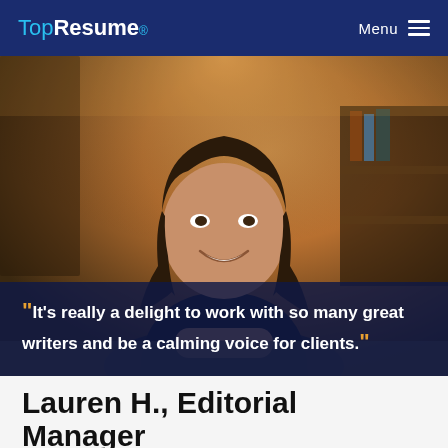TopResume® Menu
[Figure (photo): Professional photo of Lauren H., a woman with dark shoulder-length hair, smiling, wearing a black top, seated at a table with hands clasped, in a warmly lit interior setting.]
“It’s really a delight to work with so many great writers and be a calming voice for clients.”
Lauren H., Editorial Manager
8 YEARS EXPERIENCE
BACHELOR OF ARTS IN HUMANITIES